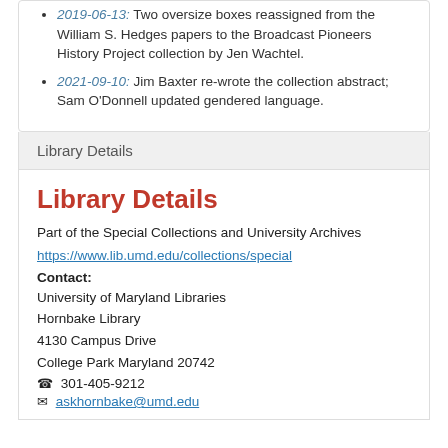2019-06-13: Two oversize boxes reassigned from the William S. Hedges papers to the Broadcast Pioneers History Project collection by Jen Wachtel.
2021-09-10: Jim Baxter re-wrote the collection abstract; Sam O'Donnell updated gendered language.
Library Details
Library Details
Part of the Special Collections and University Archives
https://www.lib.umd.edu/collections/special
Contact: University of Maryland Libraries Hornbake Library 4130 Campus Drive College Park Maryland 20742 301-405-9212 askhornbake@umd.edu